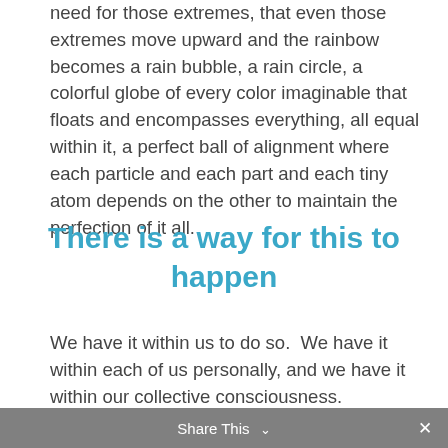need for those extremes, that even those extremes move upward and the rainbow becomes a rain bubble, a rain circle, a colorful globe of every color imaginable that floats and encompasses everything, all equal within it, a perfect ball of alignment where each particle and each part and each tiny atom depends on the other to maintain the perfection of it all.
There is a way for this to happen
We have it within us to do so.  We have it within each of us personally, and we have it within our collective consciousness.
Share This ∨  ✕